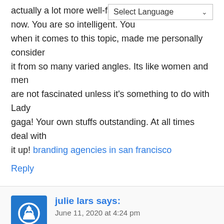actually a lot more well-favored now. You are so intelligent. You when it comes to this topic, made me personally consider it from so many varied angles. Its like women and men are not fascinated unless it's something to do with Lady gaga! Your own stuffs outstanding. At all times deal with it up! branding agencies in san francisco
Reply
julie lars says: June 11, 2020 at 4:24 pm
An interesting discussion is worth comment. I believe that you ought to write regarding this topic, it might not be a taboo subject but generally persons are too few to chat on such topics. To another location. Cheers branding